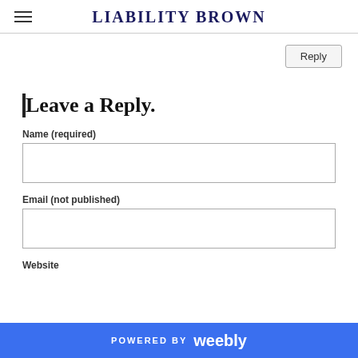LIABILITY BROWN
Reply
Leave a Reply.
Name (required)
Email (not published)
Website
POWERED BY weebly